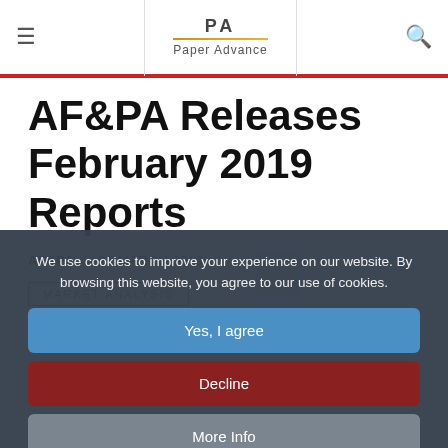≡  PA Paper Advance  🔍
AF&PA Releases February 2019 Reports
AF&PA  /  21 MARCH 2019
MARKET ANALYSIS
We use cookies to improve your experience on our website. By browsing this website, you agree to our use of cookies.
Yes, I agree
Decline
More Info